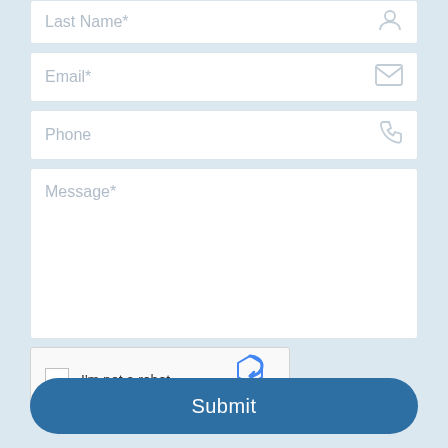Last Name*
Email*
Phone
Message*
[Figure (screenshot): reCAPTCHA widget with checkbox labeled I'm not a robot]
Submit